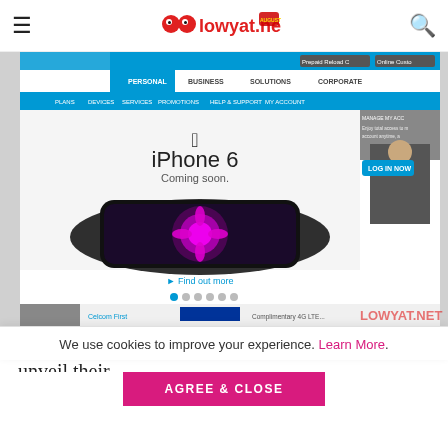lowyat.net
[Figure (screenshot): Screenshot of Celcom website showing iPhone 6 'Coming soon.' banner with a dark iPhone image displaying a purple flower, navigation bar with Personal/Business/Solutions/Corporate tabs, and lowyat.net watermark overlay]
Finally, if you've been waiting for Celcom to unveil their
We use cookies to improve your experience. Learn More.
AGREE & CLOSE